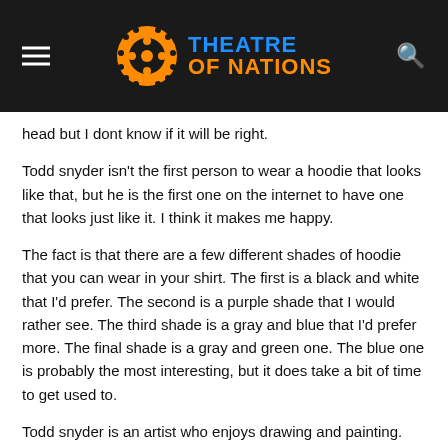Theatre of Nations
head but I dont know if it will be right.
Todd snyder isn't the first person to wear a hoodie that looks like that, but he is the first one on the internet to have one that looks just like it. I think it makes me happy.
The fact is that there are a few different shades of hoodie that you can wear in your shirt. The first is a black and white that I'd prefer. The second is a purple shade that I would rather see. The third shade is a gray and blue that I'd prefer more. The final shade is a gray and green one. The blue one is probably the most interesting, but it does take a bit of time to get used to.
Todd snyder is an artist who enjoys drawing and painting. His style is similar to the style of Robert Crumb, but has a more abstract style that I think he's really talented at. It might be